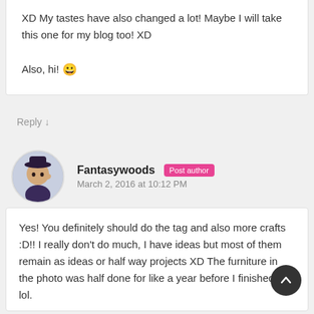XD My tastes have also changed a lot! Maybe I will take this one for my blog too! XD

Also, hi! 😀
Reply ↓
Fantasywoods Post author
March 2, 2016 at 10:12 PM
Yes! You definitely should do the tag and also more crafts :D!! I really don't do much, I have ideas but most of them remain as ideas or half way projects XD The furniture in the photo was half done for like a year before I finished it lol.